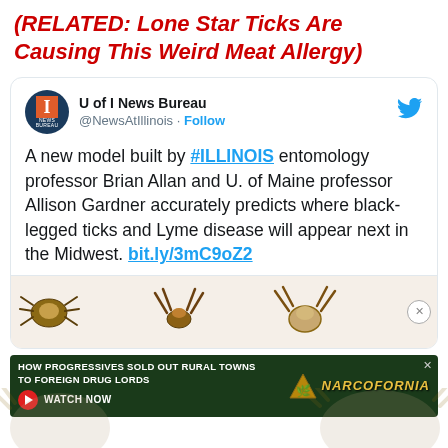(RELATED: Lone Star Ticks Are Causing This Weird Meat Allergy)
[Figure (screenshot): Embedded tweet from U of I News Bureau (@NewsAtIllinois) with text about a new model predicting black-legged tick and Lyme disease spread in the Midwest, with a link bit.ly/3mC9oZ2, and a strip of tick photos at the bottom.]
[Figure (photo): Advertisement banner: 'How Progressives Sold Out Rural Towns To Foreign Drug Lords - Narcofornia' with Watch Now button]